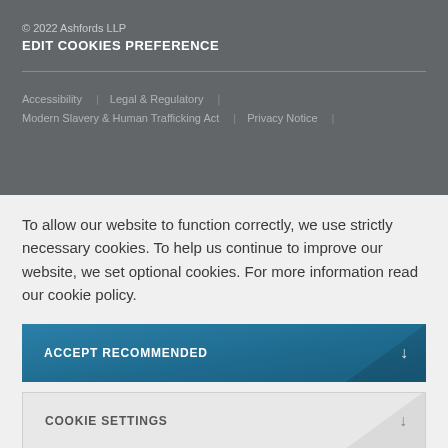© 2022 Ashfords LLP
EDIT COOKIES PREFERENCE
Accessibility  |  Legal & Regulatory  |
Modern Slavery & Human Trafficking Act  |  Privacy Notice  |
To allow our website to function correctly, we use strictly necessary cookies. To help us continue to improve our website, we set optional cookies. For more information read our cookie policy.
ACCEPT RECOMMENDED
COOKIE SETTINGS